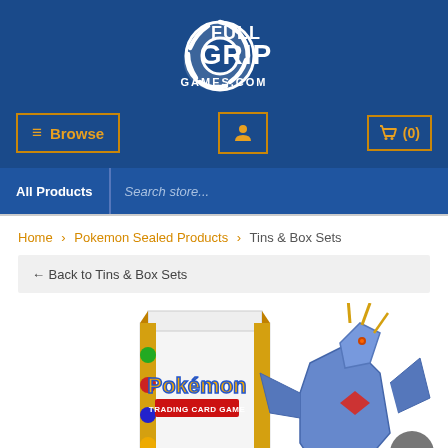[Figure (logo): Full Grip Games.com logo — white circular grip/wave icon with bold white text FULL GRIP and GAMES.COM on blue background]
≡ Browse
[Figure (infographic): User account icon (person silhouette) in orange on blue background with orange border]
🛒 (0)
All Products
Search store...
Home > Pokemon Sealed Products > Tins & Box Sets
← Back to Tins & Box Sets
[Figure (photo): Pokemon Trading Card Game box set featuring Dialga, white box with Pokemon logo and gold decorative columns, Dialga illustration on the right side]